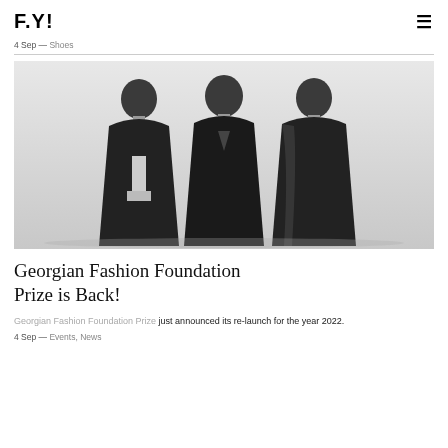F.Y!
4 Sep — Shoes
[Figure (photo): Black and white photo of three male models wearing black suits/blazers, standing side by side against a light background.]
Georgian Fashion Foundation Prize is Back!
Georgian Fashion Foundation Prize just announced its re-launch for the year 2022.
4 Sep — Events, News